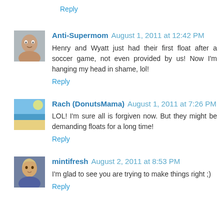Reply
Anti-Supermom August 1, 2011 at 12:42 PM
Henry and Wyatt just had their first float after a soccer game, not even provided by us! Now I'm hanging my head in shame, lol!
Reply
Rach (DonutsMama) August 1, 2011 at 7:26 PM
LOL! I'm sure all is forgiven now. But they might be demanding floats for a long time!
Reply
mintifresh August 2, 2011 at 8:53 PM
I'm glad to see you are trying to make things right ;)
Reply